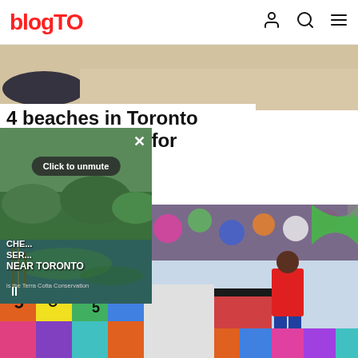blogTO
[Figure (photo): Sandy beach photo at top of article]
4 beaches in Toronto deemed unsafe for swimming
[Figure (screenshot): Video overlay popup showing nature scene near Toronto with 'Click to unmute' button, close X, text 'CHE... SER... NEAR TORONTO', pause button, and caption 'is the Terra Cotta Conservation']
[Figure (photo): Fair/carnival scene with a girl in red shirt standing on colorful floor tiles, carnival games and decorations overhead]
[Figure (photo): Bottom portion of colorful numbered floor tiles at a carnival/fair]